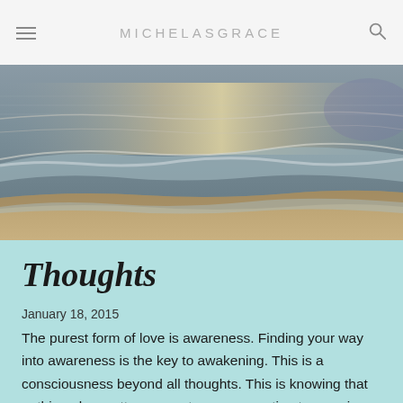michelasgrace
[Figure (photo): Ocean beach scene with waves washing up on sandy shore at sunset/dusk, muted warm and cool tones.]
Thoughts
January 18, 2015
The purest form of love is awareness. Finding your way into awareness is the key to awakening. This is a consciousness beyond all thoughts. This is knowing that nothing else matters except your connection to cosmic consciousness.